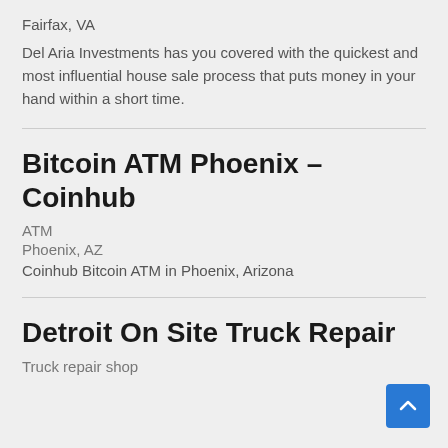Fairfax, VA
Del Aria Investments has you covered with the quickest and most influential house sale process that puts money in your hand within a short time.
Bitcoin ATM Phoenix – Coinhub
ATM
Phoenix, AZ
Coinhub Bitcoin ATM in Phoenix, Arizona
Detroit On Site Truck Repair
Truck repair shop